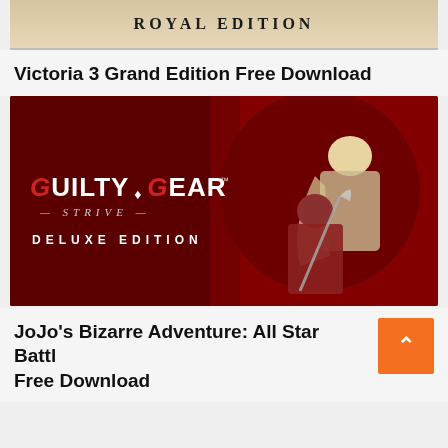[Figure (screenshot): Top portion of a game banner showing 'ROYAL EDITION' text on a parchment/tan background]
Victoria 3 Grand Edition Free Download
[Figure (screenshot): Guilty Gear -Strive- Deluxe Edition promotional banner with red background and anime-style fighting game characters]
JoJo's Bizarre Adventure: All Star Battle Free Download